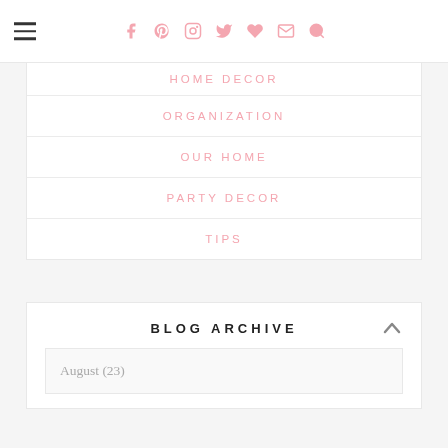social icons navigation bar
HOME DECOR
ORGANIZATION
OUR HOME
PARTY DECOR
TIPS
BLOG ARCHIVE
August (23)